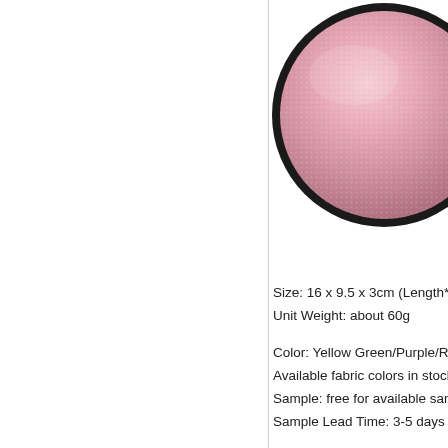[Figure (photo): Close-up of a pink textured hard shell case with a black border/zipper edge, showing a diamond/grid texture pattern on the surface. Only the right portion of the circular case is visible.]
Size: 16 x 9.5 x 3cm (Length*Wi...
Unit Weight: about 60g
Color: Yellow Green/Purple/Rose...
Available fabric colors in stock: m...
Sample: free for available sampl...
Sample Lead Time: 3-5 days for...